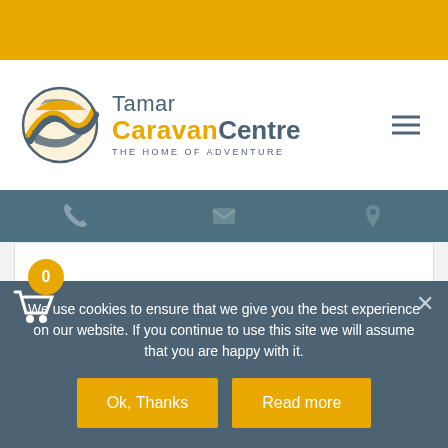[Figure (logo): Tamar Caravan Centre logo with circular road/adventure graphic and text 'THE HOME OF ADVENTURE']
riding to work, with the wind blowing through their hair, taking in…
EXCLUSIVE
We use cookies to ensure that we give you the best experience on our website. If you continue to use this site we will assume that you are happy with it.
Ok, Thanks
Read more